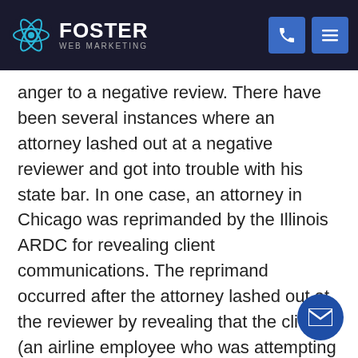FOSTER WEB MARKETING
anger to a negative review. There have been several instances where an attorney lashed out at a negative reviewer and got into trouble with his state bar. In one case, an attorney in Chicago was reprimanded by the Illinois ARDC for revealing client communications. The reprimand occurred after the attorney lashed out at the reviewer by revealing that the client (an airline employee who was attempting to collect unemployment benefits) had gotten into a physical fight with a coworker: a big, hug...